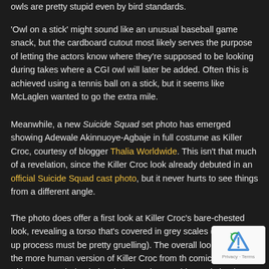owls are pretty stupid even by bird standards.
'Owl on a stick' might sound like an unusual baseball game snack, but the cardboard cutout most likely serves the purpose of letting the actors know where they're supposed to be looking during takes where a CGI owl will later be added. Often this is achieved using a tennis ball on a stick, but it seems like McLaglen wanted to go the extra mile.
Meanwhile, a new Suicide Squad set photo has emerged showing Adewale Akinnuoye-Agbaje in full costume as Killer Croc, courtesy of blogger Thalia Worldwide. This isn't that much of a revelation, since the Killer Croc look already debuted in an official Suicide Squad cast photo, but it never hurts to see things from a different angle.
The photo does offer a first look at Killer Croc's bare-chested look, revealing a torso that's covered in grey scales (the make-up process must be pretty gruelling). The overall look resembles the more human version of Killer Croc from the comics, though Akinnuoye-Agbaje obviously isn't quite as as his comic book counterpart.